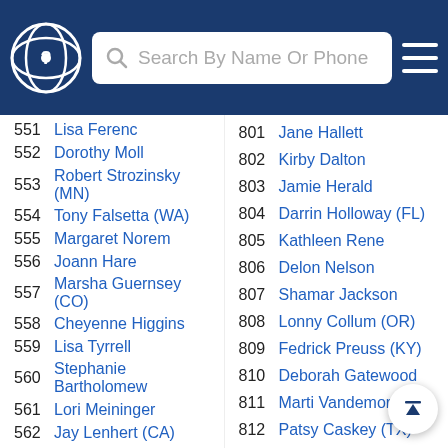Search By Name Or Phone
551  Lisa Ferenc
552  Dorothy Moll
553  Robert Strozinsky (MN)
554  Tony Falsetta (WA)
555  Margaret Norem
556  Joann Hare
557  Marsha Guernsey (CO)
558  Cheyenne Higgins
559  Lisa Tyrrell
560  Stephanie Bartholomew
561  Lori Meininger
562  Jay Lenhert (CA)
801  Jane Hallett
802  Kirby Dalton
803  Jamie Herald
804  Darrin Holloway (FL)
805  Kathleen Rene
806  Delon Nelson
807  Shamar Jackson
808  Lonny Collum (OR)
809  Fedrick Preuss (KY)
810  Deborah Gatewood
811  Marti Vandemore (IL)
812  Patsy Caskey (TX)